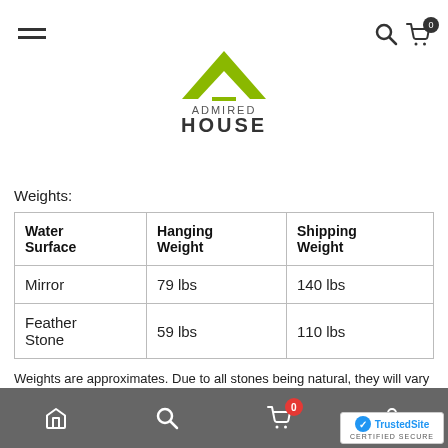[Figure (logo): Admired House logo with green triangle/house icon and text]
Weights:
| Water Surface | Hanging Weight | Shipping Weight |
| --- | --- | --- |
| Mirror | 79 lbs | 140 lbs |
| Feather Stone | 59 lbs | 110 lbs |
Weights are approximates. Due to all stones being natural, they will vary in weight.
Documents: Adagio Wall-Mounted Fountain
Home | Search | Cart (0) | Account | TrustedSite Certified Secure